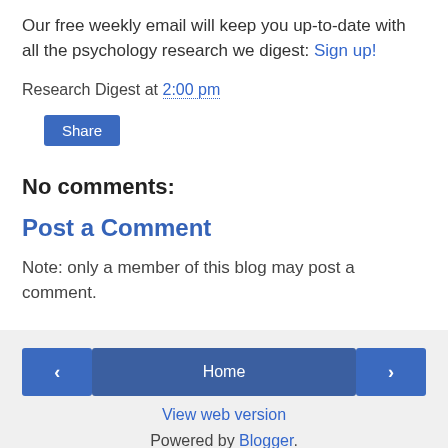Our free weekly email will keep you up-to-date with all the psychology research we digest: Sign up!
Research Digest at 2:00 pm
Share
No comments:
Post a Comment
Note: only a member of this blog may post a comment.
< Home > View web version Powered by Blogger.